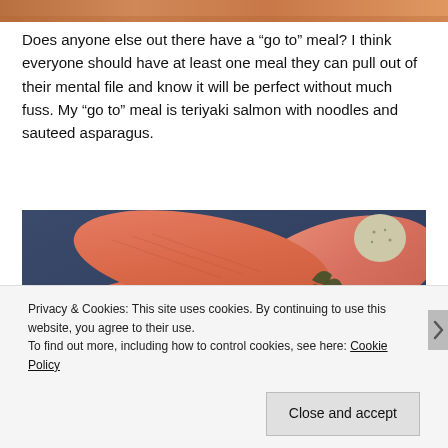[Figure (photo): Top cropped photo showing warm orange/salmon colored food image at top of page]
Does anyone else out there have a “go to” meal? I think everyone should have at least one meal they can pull out of their mental file and know it will be perfect without much fuss. My “go to” meal is teriyaki salmon with noodles and sauteed asparagus.
[Figure (photo): Close-up photo of raw salmon fillets with herbs and a herb butter ball on a dark blue surface]
Privacy & Cookies: This site uses cookies. By continuing to use this website, you agree to their use.
To find out more, including how to control cookies, see here: Cookie Policy
Close and accept